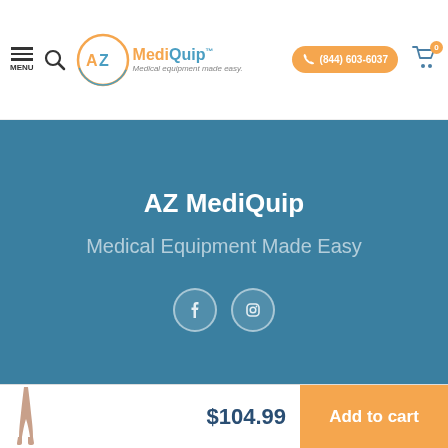[Figure (logo): AZ MediQuip logo with circular orange/blue graphic and tagline 'Medical equipment made easy.']
AZ MediQuip
Medical Equipment Made Easy
[Figure (illustration): Leg wearing compression stocking product thumbnail]
$104.99
Add to cart